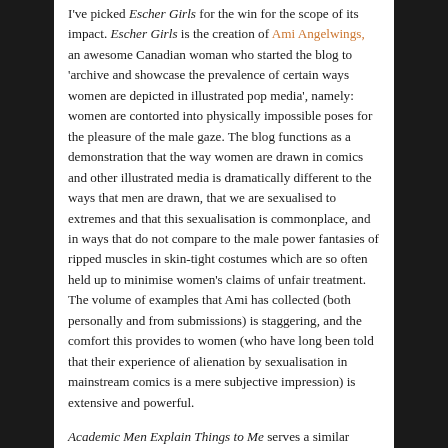I've picked Escher Girls for the win for the scope of its impact. Escher Girls is the creation of Ami Angelwings, an awesome Canadian woman who started the blog to 'archive and showcase the prevalence of certain ways women are depicted in illustrated pop media', namely: women are contorted into physically impossible poses for the pleasure of the male gaze. The blog functions as a demonstration that the way women are drawn in comics and other illustrated media is dramatically different to the ways that men are drawn, that we are sexualised to extremes and that this sexualisation is commonplace, and in ways that do not compare to the male power fantasies of ripped muscles in skin-tight costumes which are so often held up to minimise women's claims of unfair treatment. The volume of examples that Ami has collected (both personally and from submissions) is staggering, and the comfort this provides to women (who have long been told that their experience of alienation by sexualisation in mainstream comics is a mere subjective impression) is extensive and powerful.
Academic Men Explain Things to Me serves a similar